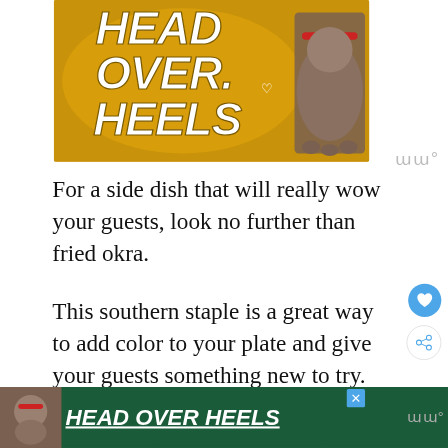[Figure (illustration): Yellow/gold promotional banner with bold text reading HEAD OVER HEELS with a dog photo on the right side]
For a side dish that will really wow your guests, look no further than fried okra.
This southern staple is a great way to add color to your plate and give your guests something new to try.
Fried okra pairs well with any kind of meat, b...
[Figure (illustration): Bottom advertisement banner with dark green background, dog image, and HEAD OVER HEELS text in white italic with underline]